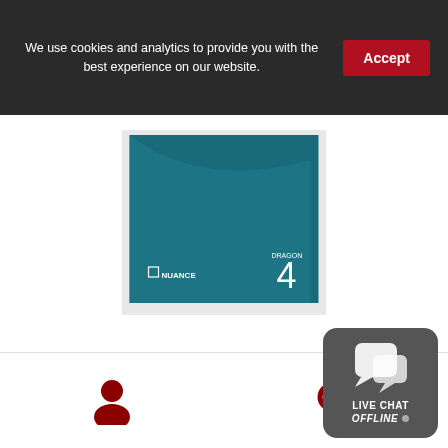We use cookies and analytics to provide you with the best experience on our website.
Accept
[Figure (screenshot): Nuance product box with teal background, showing '4' and Nuance logo]
Dragon Legal Individual
[Figure (screenshot): Product box with red/crimson background, partially visible]
[Figure (other): Live Chat Offline widget with speech bubble icon, dark gray rounded rectangle]
[Figure (other): User account icon (person silhouette) in dark red]
[Figure (other): Search icon (magnifying glass) in dark red]